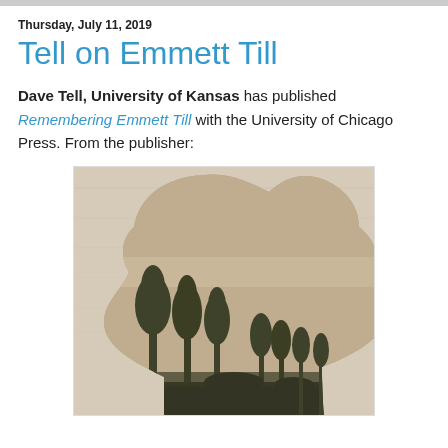Thursday, July 11, 2019
Tell on Emmett Till
Dave Tell, University of Kansas has published Remembering Emmett Till with the University of Chicago Press. From the publisher:
[Figure (illustration): Book cover of 'Remembering Emmett Till' showing a silhouette of a person's head and shoulders with a double-exposure effect featuring trees and a landscape in sepia and natural tones against a light beige background.]